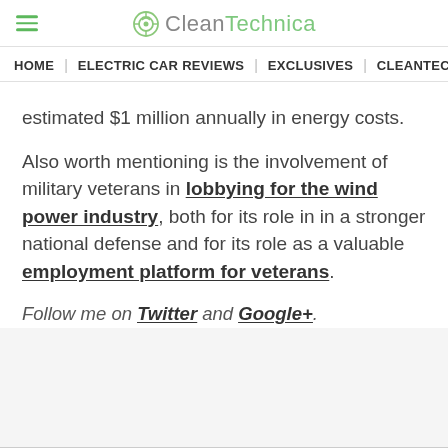CleanTechnica
HOME | ELECTRIC CAR REVIEWS | EXCLUSIVES | CLEANTECHN...
estimated $1 million annually in energy costs.
Also worth mentioning is the involvement of military veterans in lobbying for the wind power industry, both for its role in in a stronger national defense and for its role as a valuable employment platform for veterans.
Follow me on Twitter and Google+.